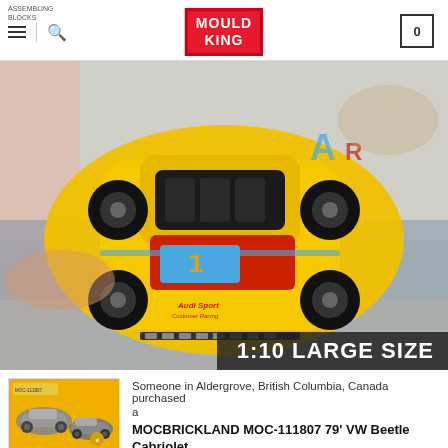ASSEMBLING BLOCKS | Mould King (logo) | Cart (0)
[Figure (photo): Yellow Mould King Audi Sport R8 Technic-style building block model car, 1:10 large size, held by a person, overhead view showing detailed yellow brick assembly with 'Audi Sport' and number '1' decals. Overlay text reads '1:10 LARGE SIZE'.]
[Figure (photo): Small thumbnail of product box showing a gray VW Beetle Cabriolet building block model, with orange packaging.]
Someone in Aldergrove, British Columbia, Canada purchased a
MOCBRICKLAND MOC-111807 79' VW Beetle Cabriolet
About 7 hours ago